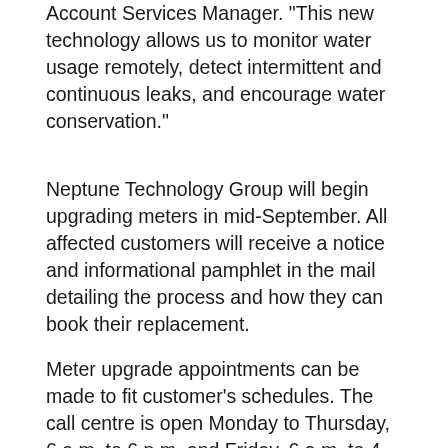Account Services Manager. "This new technology allows us to monitor water usage remotely, detect intermittent and continuous leaks, and encourage water conservation."
Neptune Technology Group will begin upgrading meters in mid-September. All affected customers will receive a notice and informational pamphlet in the mail detailing the process and how they can book their replacement.
Meter upgrade appointments can be made to fit customer's schedules. The call centre is open Monday to Thursday, 6 a.m. to 6 p.m. and Friday, 6 a.m. to 4 p.m. Appointments are available Monday to Friday, 8 a.m. to 8 p.m. and Saturday, 9 a.m. to 6 p.m. The work typically takes 30 to 90 minutes to